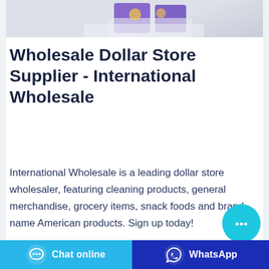[Figure (photo): Product photo showing packaged food/snack items on a light background]
Wholesale Dollar Store Supplier - International Wholesale
International Wholesale is a leading dollar store wholesaler, featuring cleaning products, general merchandise, grocery items, snack foods and brand name American products. Sign up today!
[Figure (other): Cyan circular chat bubble icon button]
[Figure (other): Blue and green rectangular bars (UI buttons partially visible)]
[Figure (other): Two footer action buttons: 'Chat online' (cyan) and 'WhatsApp' (dark blue)]